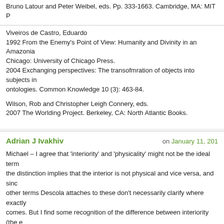Bruno Latour and Peter Weibel, eds. Pp. 333-1663. Cambridge, MA: MIT P
Viveiros de Castro, Eduardo
1992 From the Enemy's Point of View: Humanity and Divinity in an Amazonia
Chicago: University of Chicago Press.
2004 Exchanging perspectives: The transofmration of objects into subjects in ontologies. Common Knowledge 10 (3): 463-84.
Wilson, Rob and Christopher Leigh Connery, eds.
2007 The Worlding Project. Berkeley, CA: North Atlantic Books.
Adrian J Ivakhiv
on January 11, 201
Michael – I agree that 'interiority' and 'physicality' might not be the ideal term the distinction implies that the interior is not physical and vice versa, and sinc other terms Descola attaches to these don't necessarily clarify where exactly comes. But I find some recognition of the difference between interiority (the e exteriority (the experienced or experiencable) to be useful, as long as these a of a moment of experience (as Whitehead would see them, i.e. the subjective versus the objective or physical pole of a prehension) and not a dualism that among those things that have one (interiority) and those that are relegated to it). With Descola it seems more like an onto-epistemological tool – all things h interiority (subjective experience) and physicality (material form?) and the qu alike or dissimilar they are in each. I'm curious to know what your objections